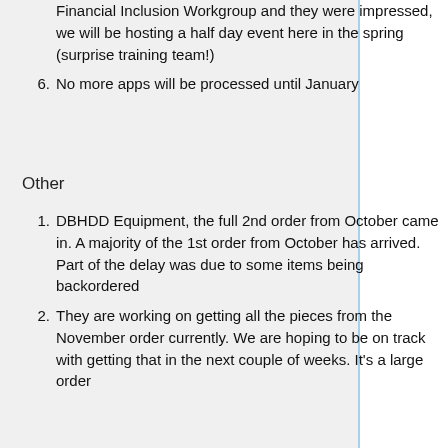Financial Inclusion Workgroup and they were impressed, we will be hosting a half day event here in the spring (surprise training team!)
No more apps will be processed until January
Other
DBHDD Equipment, the full 2nd order from October came in. A majority of the 1st order from October has arrived. Part of the delay was due to some items being backordered
They are working on getting all the pieces from the November order currently. We are hoping to be on track with getting that in the next couple of weeks. It's a large order